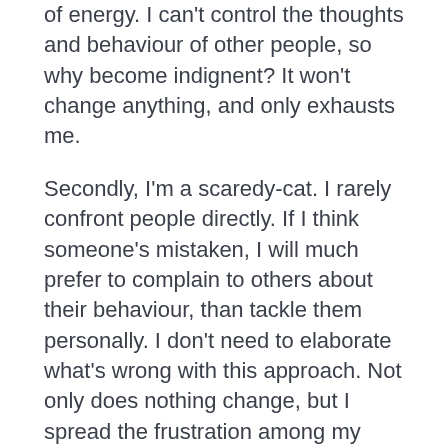of energy. I can't control the thoughts and behaviour of other people, so why become indignent? It won't change anything, and only exhausts me.
Secondly, I'm a scaredy-cat. I rarely confront people directly. If I think someone's mistaken, I will much prefer to complain to others about their behaviour, than tackle them personally. I don't need to elaborate what's wrong with this approach. Not only does nothing change, but I spread the frustration among my confidants. Unresolved indignation seems to wallow in the skull, draining strength and generating neuroses.